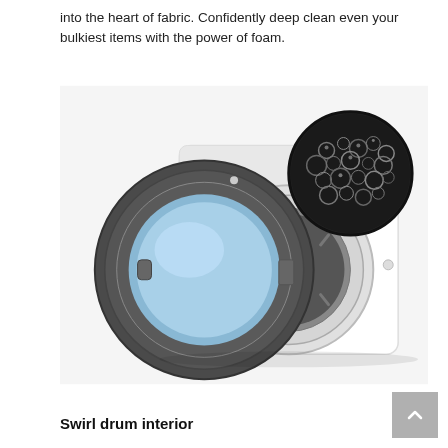into the heart of fabric. Confidently deep clean even your bulkiest items with the power of foam.
[Figure (photo): A front-loading washing machine with its door open revealing a blue-lit interior drum. An inset circular close-up shows water bubbles/foam on the drum surface.]
Swirl drum interior